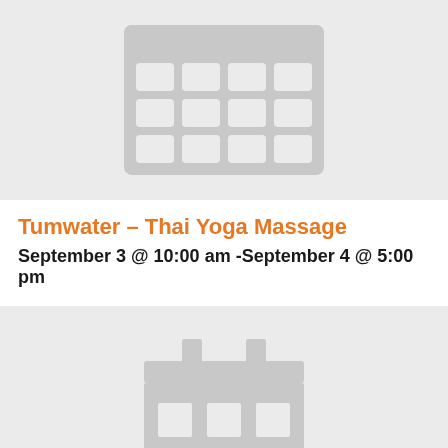[Figure (illustration): Gray placeholder image with a calendar grid icon (4x3 grid of rounded squares) on a light gray background]
Tumwater – Thai Yoga Massage
September 3 @ 10:00 am -September 4 @ 5:00 pm
[Figure (illustration): Gray placeholder image with a building/store icon on a light gray background]